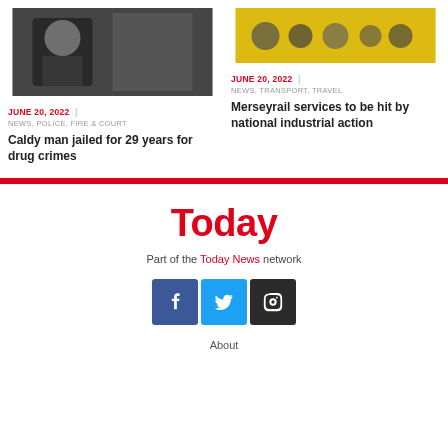[Figure (photo): Dark image of a street mural or graffiti art]
JUNE 20, 2022 | NEWS, POLICE, FIRE & COURT
Caldy man jailed for 29 years for drug crimes
[Figure (photo): People on a platform or transport area with yellow background]
JUNE 20, 2022 | NEWS, TRANSPORT, TRAVEL
Merseyrail services to be hit by national industrial action
Today
Part of the Today News network
[Figure (logo): Social media icons: Facebook, Twitter, Instagram]
About